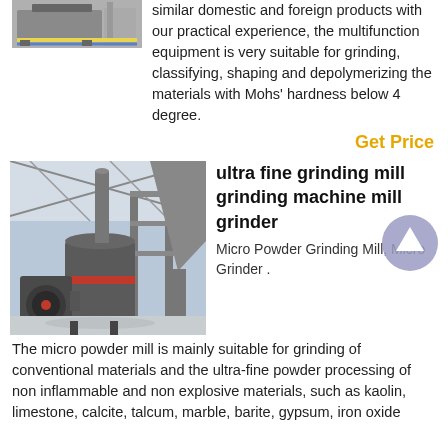[Figure (photo): Industrial grinding/milling equipment on a yellow-framed stand, partial view at top of page]
similar domestic and foreign products with our practical experience, the multifunction equipment is very suitable for grinding, classifying, shaping and depolymerizing the materials with Mohs' hardness below 4 degree.
Get Price
[Figure (photo): Large industrial ultra fine grinding mill machine installed in a factory/warehouse setting with high ceiling]
ultra fine grinding mill grinding machine mill grinder
Micro Powder Grinding Mill, Micro Grinder .
The micro powder mill is mainly suitable for grinding of conventional materials and the ultra-fine powder processing of non inflammable and non explosive materials, such as kaolin, limestone, calcite, talcum, marble, barite, gypsum, iron oxide and iron oxide...